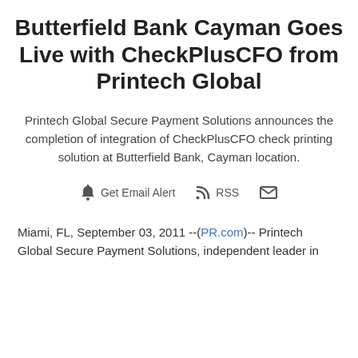Butterfield Bank Cayman Goes Live with CheckPlusCFO from Printech Global
Printech Global Secure Payment Solutions announces the completion of integration of CheckPlusCFO check printing solution at Butterfield Bank, Cayman location.
Get Email Alert  RSS  [mail icon]
Miami, FL, September 03, 2011 --(PR.com)-- Printech Global Secure Payment Solutions, independent leader in